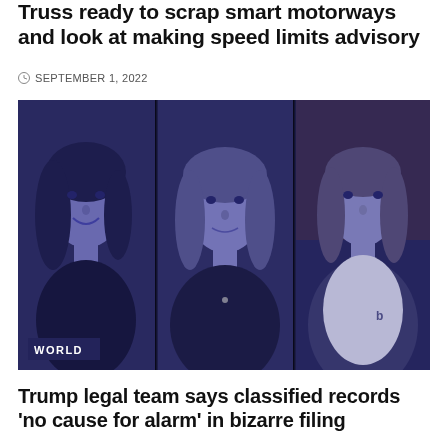Truss ready to scrap smart motorways and look at making speed limits advisory
SEPTEMBER 1, 2022
[Figure (photo): Three women shown in blue-tinted portrait photos side by side with a 'WORLD' badge overlay in the bottom left]
Trump legal team says classified records ‘no cause for alarm’ in bizarre filing